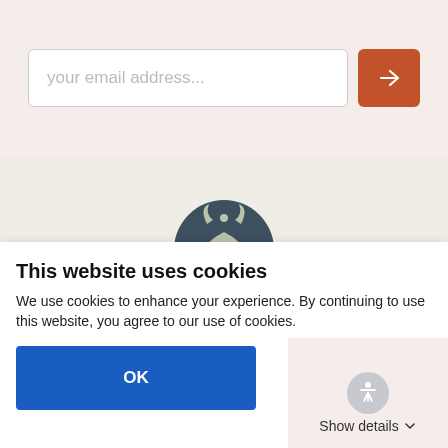[Figure (screenshot): Email input field with placeholder text 'your email address...' and an orange arrow submit button]
[Figure (logo): Circular logo with dark teal/navy background featuring stylized leaf/wing design with a small circle at top center]
Store +
Customer Care +
This website uses cookies
We use cookies to enhance your experience. By continuing to use this website, you agree to our use of cookies.
OK
Show details